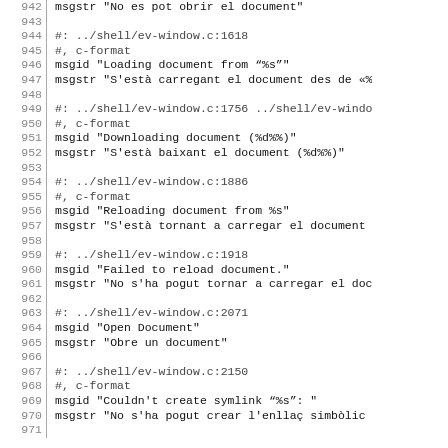942 | msgstr "No es pot obrir el document"
943
944 | #: ../shell/ev-window.c:1618
945 | #, c-format
946 | msgid "Loading document from "%s""
947 | msgstr "S'està carregant el document des de «%
948
949 | #: ../shell/ev-window.c:1756 ../shell/ev-windo
950 | #, c-format
951 | msgid "Downloading document (%d%%)"
952 | msgstr "S'està baixant el document (%d%%)"
953
954 | #: ../shell/ev-window.c:1886
955 | #, c-format
956 | msgid "Reloading document from %s"
957 | msgstr "S'està tornant a carregar el document
958
959 | #: ../shell/ev-window.c:1918
960 | msgid "Failed to reload document."
961 | msgstr "No s'ha pogut tornar a carregar el doc
962
963 | #: ../shell/ev-window.c:2071
964 | msgid "Open Document"
965 | msgstr "Obre un document"
966
967 | #: ../shell/ev-window.c:2150
968 | #, c-format
969 | msgid "Couldn't create symlink "%s": "
970 | msgstr "No s'ha pogut crear l'enllaç simbòlic
971